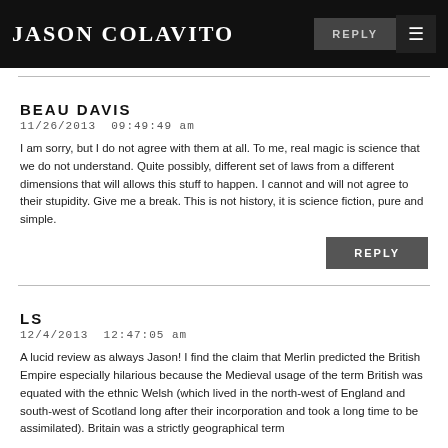JASON COLAVITO
BEAU DAVIS
11/26/2013 09:49:49 am
I am sorry, but I do not agree with them at all. To me, real magic is science that we do not understand. Quite possibly, different set of laws from a different dimensions that will allows this stuff to happen. I cannot and will not agree to their stupidity. Give me a break. This is not history, it is science fiction, pure and simple.
LS
12/4/2013 12:47:05 am
A lucid review as always Jason! I find the claim that Merlin predicted the British Empire especially hilarious because the Medieval usage of the term British was equated with the ethnic Welsh (which lived in the north-west of England and south-west of Scotland long after their incorporation and took a long time to be assimilated). Britain was a strictly geographical term